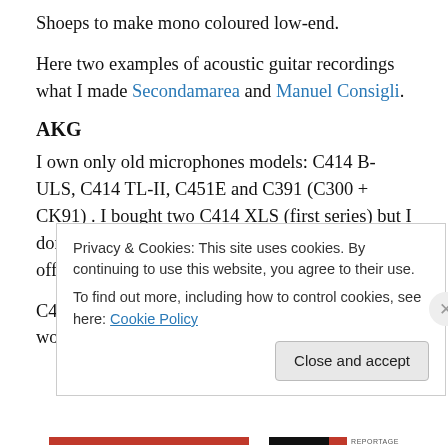Shoeps to make mono coloured low-end.
Here two examples of acoustic guitar recordings what I made Secondamarea and Manuel Consigli.
AKG
I own only old microphones models: C414 B-ULS, C414 TL-II, C451E and C391 (C300 + CK91) . I bought two C414 XLS (first series) but I don't liked them because their sound were knock-off and lifeless.
C414 B-ULS is very flexible microphone, it works fine with
Privacy & Cookies: This site uses cookies. By continuing to use this website, you agree to their use.
To find out more, including how to control cookies, see here: Cookie Policy